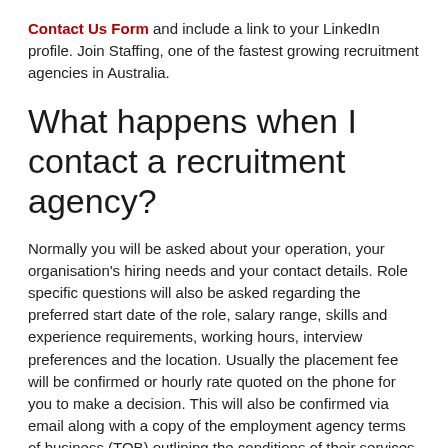Contact Us Form and include a link to your LinkedIn profile. Join Staffing, one of the fastest growing recruitment agencies in Australia.
What happens when I contact a recruitment agency?
Normally you will be asked about your operation, your organisation's hiring needs and your contact details. Role specific questions will also be asked regarding the preferred start date of the role, salary range, skills and experience requirements, working hours, interview preferences and the location. Usually the placement fee will be confirmed or hourly rate quoted on the phone for you to make a decision. This will also be confirmed via email along with a copy of the employment agency terms of business (TOB) outlining the conditions of their services. There is no obligation to use their services at this stage, whereby the onus is on the staffing agency to source fantastic candidates that